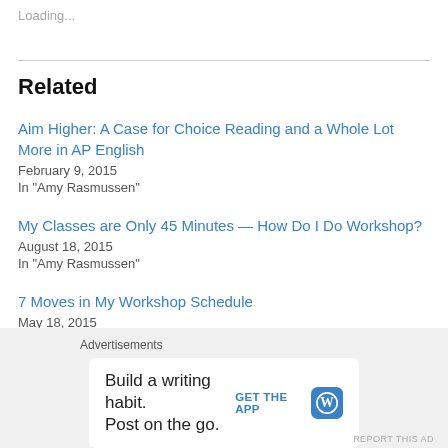Loading...
Related
Aim Higher: A Case for Choice Reading and a Whole Lot More in AP English
February 9, 2015
In "Amy Rasmussen"
My Classes are Only 45 Minutes — How Do I Do Workshop?
August 18, 2015
In "Amy Rasmussen"
7 Moves in My Workshop Schedule
May 18, 2015
In "Amy Rasmussen"
Advertisements
Build a writing habit.
Post on the go.
GET THE APP